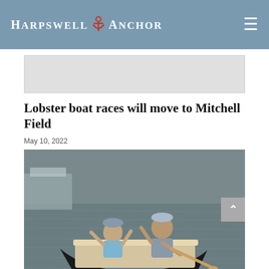Harpswell Anchor
[Figure (other): Gray advertisement banner placeholder]
Lobster boat races will move to Mitchell Field
May 10, 2022
[Figure (photo): Two men in a small wooden boat on the water, both waving at the camera. One man wears a light blue shirt and cap, the other wears a gray long-sleeve shirt and cap. The boat is black with wooden trim.]